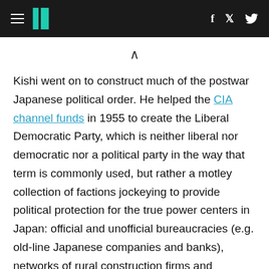HuffPost navigation header with hamburger menu, logo, Facebook and Twitter icons
^ (chevron up symbol)
Kishi went on to construct much of the postwar Japanese political order. He helped the CIA channel funds in 1955 to create the Liberal Democratic Party, which is neither liberal nor democratic nor a political party in the way that term is commonly used, but rather a motley collection of factions jockeying to provide political protection for the true power centers in Japan: official and unofficial bureaucracies (e.g. old-line Japanese companies and banks), networks of rural construction firms and agricultural interests, and the unreconstructed